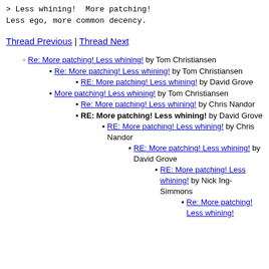> Less whining!  More patching!
Less ego, more common decency.
Thread Previous | Thread Next
Re: More patching! Less whining! by Tom Christiansen
Re: More patching! Less whining! by Tom Christiansen
RE: More patching! Less whining! by David Grove
More patching! Less whining! by Tom Christiansen
Re: More patching! Less whining! by Chris Nandor
RE: More patching! Less whining! by David Grove
RE: More patching! Less whining! by Chris Nandor
RE: More patching! Less whining! by David Grove
RE: More patching! Less whining! by Nick Ing-Simmons
Re: More patching! Less whining!